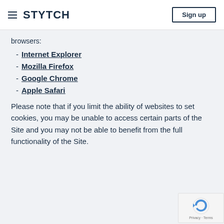STYTCH  Sign up
browsers:
- Internet Explorer
- Mozilla Firefox
- Google Chrome
- Apple Safari
Please note that if you limit the ability of websites to set cookies, you may be unable to access certain parts of the Site and you may not be able to benefit from the full functionality of the Site.